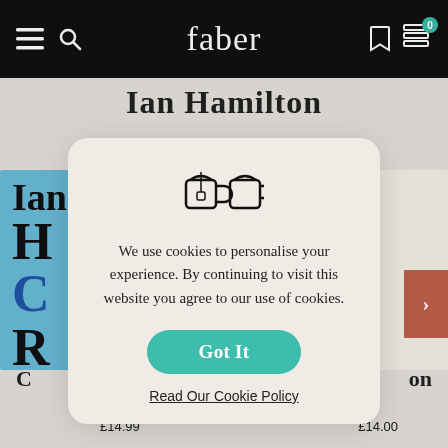faber
Ian Hamilton
[Figure (screenshot): Faber website screenshot showing book covers and a cookie consent modal dialog]
We use cookies to personalise your experience. By continuing to visit this website you agree to our use of cookies.
Got It
Read Our Cookie Policy
Ian Hamilton
£14.99
£14.00